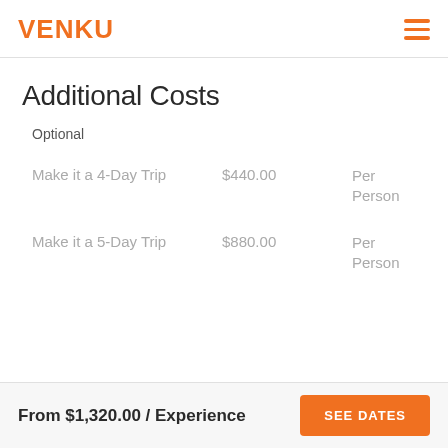VENKU
Additional Costs
Optional
|  | Price | Unit |
| --- | --- | --- |
| Make it a 4-Day Trip | $440.00 | Per Person |
| Make it a 5-Day Trip | $880.00 | Per Person |
From $1,320.00 / Experience  SEE DATES